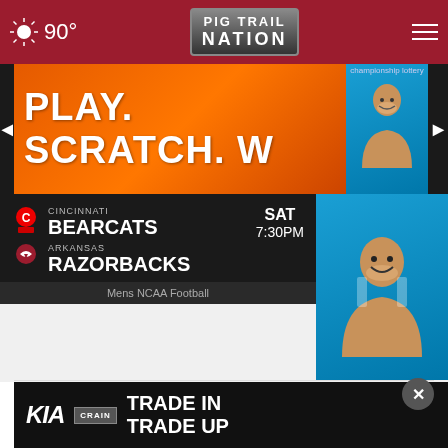90° Pig Trail Nation
[Figure (screenshot): Advertisement banner: PLAY. SCRATCH. W... with orange background and smiling person on blue background]
[Figure (infographic): Sports matchup card: Cincinnati Bearcats vs Arkansas Razorbacks, SAT 7:30PM, Mens NCAA Football]
WHAT DO YOU THINK?
Who do you think will win the NFC North this season?
Lions
Bears
Packers
[Figure (screenshot): Kia Crain advertisement: TRADE IN TRADE UP]